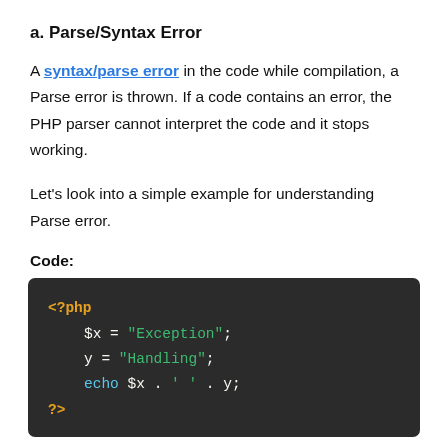a. Parse/Syntax Error
A syntax/parse error in the code while compilation, a Parse error is thrown. If a code contains an error, the PHP parser cannot interpret the code and it stops working.
Let's look into a simple example for understanding Parse error.
Code:
[Figure (screenshot): PHP code block on dark background showing: <?php  $x = "Exception";  y = "Handling";  echo $x . ' ' . y; ?>]